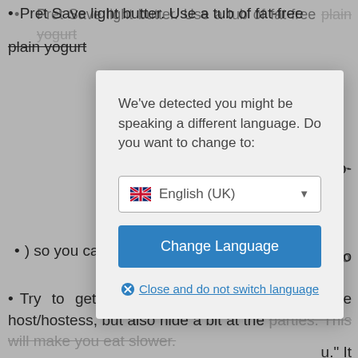Pret Save light butter. Use a tub of fat-free plain yogurt
oo-
d to
u." It
) so you can reduce portion sizes.
Try to get people to eat with you. Yes the host/hostess, but also hide a bit at the parties. This will make you eat slower.
[Figure (screenshot): Modal dialog box with language detection prompt. Text reads: 'We've detected you might be speaking a different language. Do you want to change to:' with a dropdown showing 'English (UK)' with UK flag, a blue 'Change Language' button, and a 'Close and do not switch language' link with an X icon.]